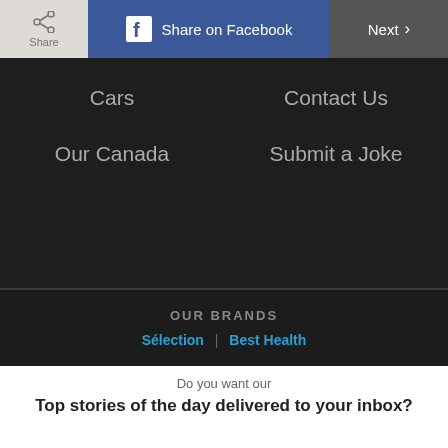[Figure (screenshot): Share button with share icon and text 'Share']
[Figure (screenshot): Facebook share button with Facebook icon and text 'Share on Facebook']
[Figure (screenshot): Next button with right arrow]
Cars
Contact Us
Our Canada
Submit a Joke
OUR BRANDS
Sélection  |  Best Health
Do you want our
Top stories of the day delivered to your inbox?
[Figure (screenshot): Red button labeled YES PLEASE!]
[Figure (screenshot): Gray button labeled NO THANKS]